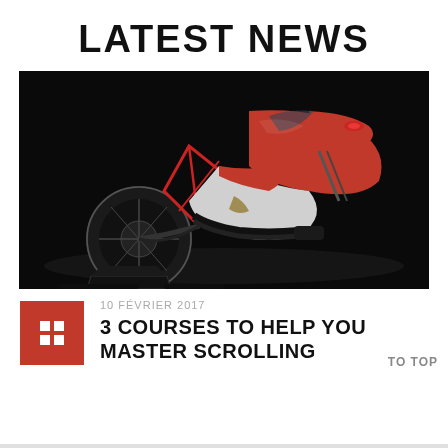LATEST NEWS
[Figure (photo): A red and white sport motorcycle (MV Agusta style) on a paddock stand, photographed against a dark black background, rear three-quarter view.]
10 FÉVRIER 2017
3 COURSES TO HELP YOU MASTER SCROLLING
TO TOP